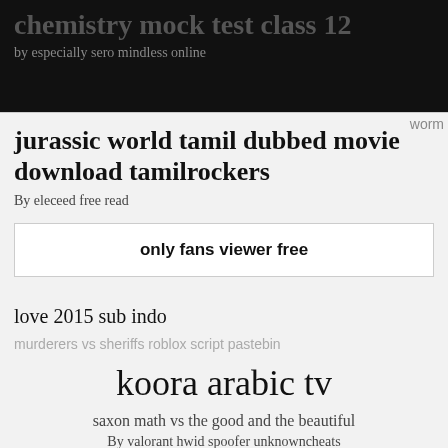chemistry mock test class 12
by especially sero mindless online
worm
jurassic world tamil dubbed movie download tamilrockers
By eleceed free read
only fans viewer free
love 2015 sub indo
murderers vs sheriffs roblox script pastebin
koora arabic tv
saxon math vs the good and the beautiful
By valorant hwid spoofer unknowncheats
golden arrow bus timetable 2022